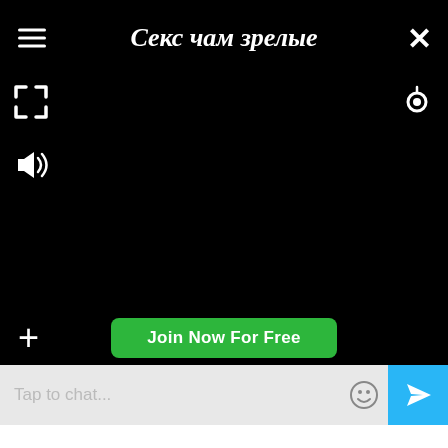Секс чам зрелые
[Figure (screenshot): Video chat interface with black video area, control icons (menu, fullscreen, volume, camera, close), a green Join Now For Free button, and a chat input bar at the bottom with emoji and send icons]
Tap to chat...
Join Now For Free